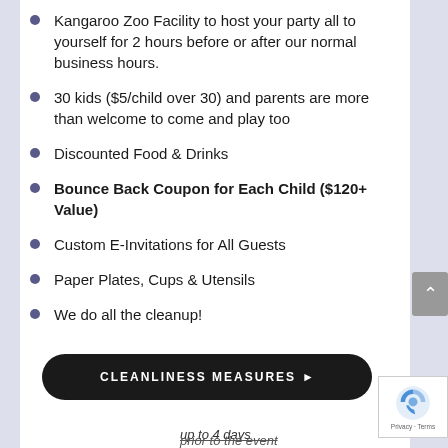Kangaroo Zoo Facility to host your party all to yourself for 2 hours before or after our normal business hours.
30 kids ($5/child over 30) and parents are more than welcome to come and play too
Discounted Food & Drinks
Bounce Back Coupon for Each Child ($120+ Value)
Custom E-Invitations for All Guests
Paper Plates, Cups & Utensils
We do all the cleanup!
CLEANLINESS MEASURES ▶
up to 4 days prior to the event